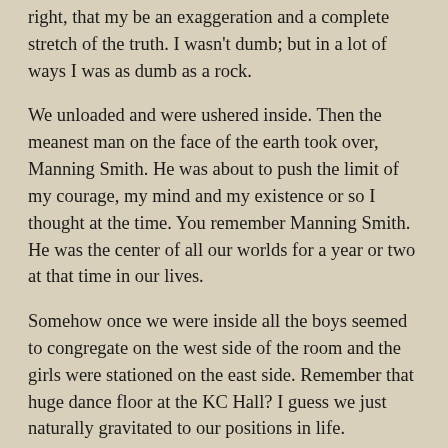right, that my be an exaggeration and a complete stretch of the truth. I wasn't dumb; but in a lot of ways I was as dumb as a rock.
We unloaded and were ushered inside. Then the meanest man on the face of the earth took over, Manning Smith. He was about to push the limit of my courage, my mind and my existence or so I thought at the time. You remember Manning Smith. He was the center of all our worlds for a year or two at that time in our lives.
Somehow once we were inside all the boys seemed to congregate on the west side of the room and the girls were stationed on the east side. Remember that huge dance floor at the KC Hall? I guess we just naturally gravitated to our positions in life.
We all knew each other but somehow this was a different situation; sorta like a battlefield, don't ya think? Well, there we stood fearin' the worst.
I do not recall the exact words, but soon they were uttered and the time had come: “Gentlemen, cross the hall and ask one of the girls to dance, taking her hand and leading her to